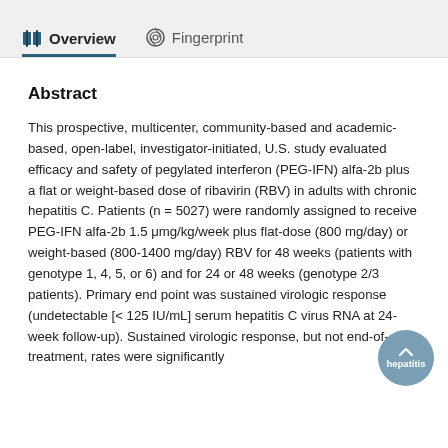Overview  Fingerprint
Abstract
This prospective, multicenter, community-based and academic-based, open-label, investigator-initiated, U.S. study evaluated efficacy and safety of pegylated interferon (PEG-IFN) alfa-2b plus a flat or weight-based dose of ribavirin (RBV) in adults with chronic hepatitis C. Patients (n = 5027) were randomly assigned to receive PEG-IFN alfa-2b 1.5 μmg/kg/week plus flat-dose (800 mg/day) or weight-based (800-1400 mg/day) RBV for 48 weeks (patients with genotype 1, 4, 5, or 6) and for 24 or 48 weeks (genotype 2/3 patients). Primary end point was sustained virologic response (undetectable [< 125 IU/mL] serum hepatitis C virus RNA at 24-week follow-up). Sustained virologic response, but not end-of-treatment, rates were significantly